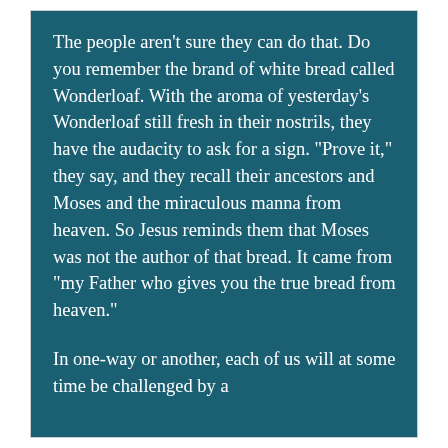The people aren't sure they can do that. Do you remember the brand of white bread called Wonderloaf. With the aroma of yesterday's Wonderloaf still fresh in their nostrils, they have the audacity to ask for a sign. "Prove it," they say, and they recall their ancestors and Moses and the miraculous manna from heaven. So Jesus reminds them that Moses was not the author of that bread. It came from "my Father who gives you the true bread from heaven."
In one-way or another, each of us will at some time be challenged by a